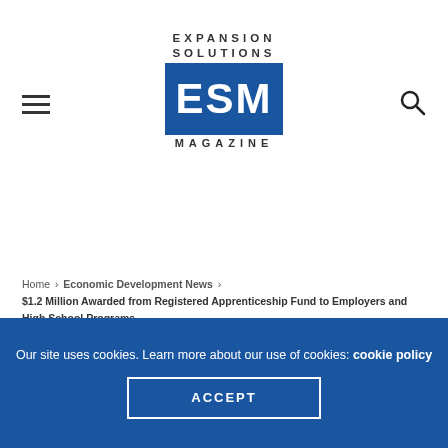[Figure (logo): Expansion Solutions ESM Magazine logo — text 'EXPANSION SOLUTIONS' above a blue rectangle with white letters 'ESM', and 'MAGAZINE' below]
Home > Economic Development News > $1.2 Million Awarded from Registered Apprenticeship Fund to Employers and High School Programs
ECONOMIC DEVELOPMENT NEWS
Our site uses cookies. Learn more about our use of cookies: cookie policy
ACCEPT